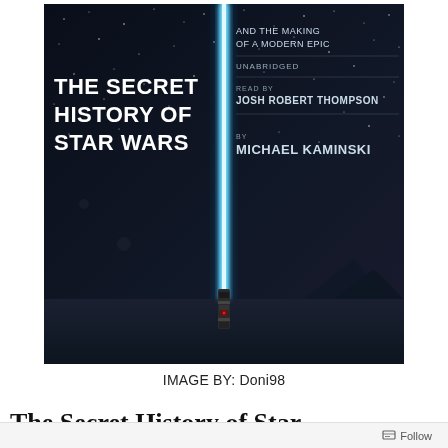[Figure (illustration): Book cover / audiobook cover for 'The Secret History of Star Wars' by Michael Kaminski. Dark space background with stars, a glowing blue lightsaber beam running vertically through the center. Left side shows: 'THE SECRET HISTORY OF STAR WARS' in bold white text. Right side shows: 'AND THE MAKING OF A MODERN EPIC', 'UNABRIDGED', 'READ BY JOSH ROBERT THOMPSON', 'BY MICHAEL KAMINSKI'. The lightsaber hilt is visible at the bottom.]
IMAGE BY: Doni98
The Secret History of Star